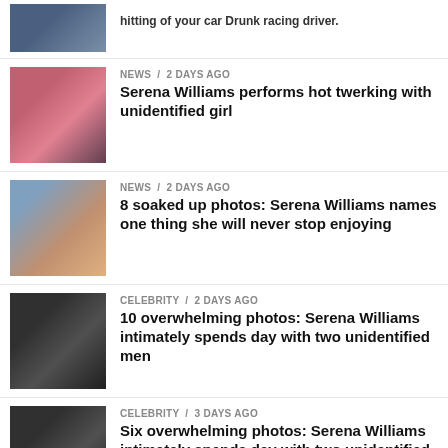hitting of your car Drunk racing driver
NEWS / 2 days ago — Serena Williams performs hot twerking with unidentified girl
NEWS / 2 days ago — 8 soaked up photos: Serena Williams names one thing she will never stop enjoying
CELEBRITY / 2 days ago — 10 overwhelming photos: Serena Williams intimately spends day with two unidentified men
CELEBRITY / 3 days ago — Six overwhelming photos: Serena Williams intimately spends day with two unidentified men
ADVERTISEMENT